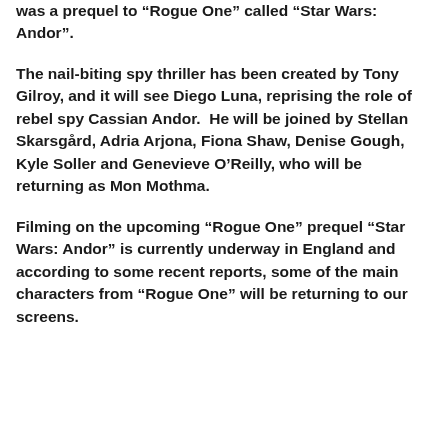was a prequel to “Rogue One” called “Star Wars: Andor”.
The nail-biting spy thriller has been created by Tony Gilroy, and it will see Diego Luna, reprising the role of rebel spy Cassian Andor.  He will be joined by Stellan Skarsgård, Adria Arjona, Fiona Shaw, Denise Gough, Kyle Soller and Genevieve O’Reilly, who will be returning as Mon Mothma.
Filming on the upcoming “Rogue One” prequel “Star Wars: Andor” is currently underway in England and according to some recent reports, some of the main characters from “Rogue One” will be returning to our screens.